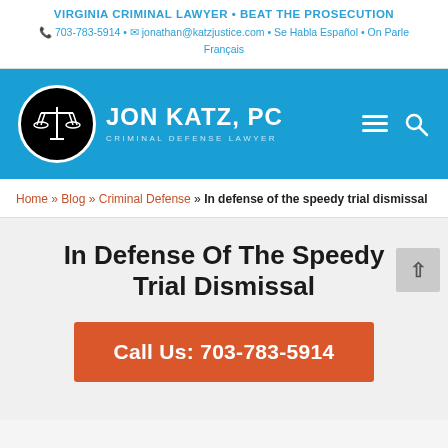VIRGINIA CRIMINAL LAWYER • BEAT THE PROSECUTION
📞 703-783-5914 • ✉ jonathan@katzjustice.com • Se Habla Español • On Parle Français
[Figure (logo): Jon Katz, PC Criminal Defense Lawyer logo — black circle with scales of justice, white text 'JON KATZ, PC' and 'CRIMINAL DEFENSE LAWYER' on blue navigation bar]
Home » Blog » Criminal Defense » In defense of the speedy trial dismissal
In Defense Of The Speedy Trial Dismissal
Call Us: 703-783-5914